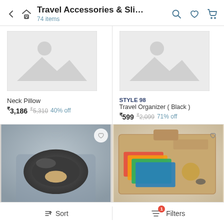Travel Accessories & Slin... 74 items
[Figure (screenshot): Placeholder product image for Neck Pillow - grey image placeholder with mountain icon]
Neck Pillow ₹3,186 ₹5,310 40% off
[Figure (screenshot): Placeholder product image for STYLE 98 Travel Organizer Black - grey image placeholder with mountain icon]
STYLE 98 Travel Organizer ( Black ) ₹599 ₹2,099 71% off
[Figure (photo): Photo of a dark grey neck pillow / travel pillow on an airplane seat]
[Figure (photo): Photo of a tan/brown leather card wallet organizer with colorful cards visible]
↕ Sort  Filters (1)